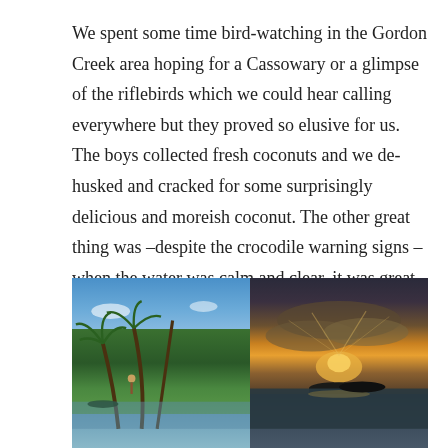We spent some time bird-watching in the Gordon Creek area hoping for a Cassowary or a glimpse of the riflebirds which we could hear calling everywhere but they proved so elusive for us.  The boys collected fresh coconuts and we de-husked and cracked for some surprisingly delicious and moreish coconut. The other great thing was –despite the crocodile warning signs – when the water was calm and clear, it was great for safe swimming to cool off.
[Figure (photo): Photo of palm trees leaning over a tropical beach with blue sky and turquoise ocean in background; a person climbing one of the palm trees]
[Figure (photo): Photo of a dramatic sunset over calm ocean water with golden orange clouds and a small island silhouette in the distance]